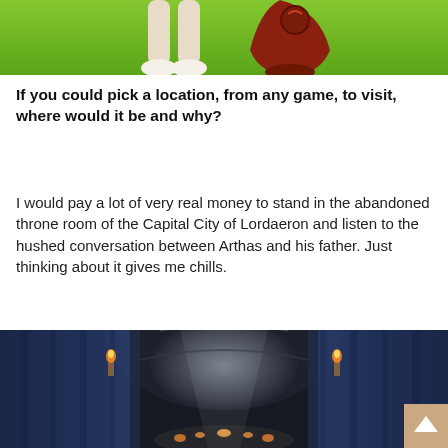[Figure (photo): Animated game characters on a bright green background — two stylized cartoon-like figures (one with long legs in white shoes, one in a dark red dress-like shape) visible from roughly the waist down.]
If you could pick a location, from any game, to visit, where would it be and why?
I would pay a lot of very real money to stand in the abandoned throne room of the Capital City of Lordaeron and listen to the hushed conversation between Arthas and his father. Just thinking about it gives me chills.
[Figure (photo): Dark fantasy game interior showing a grand throne room — high stone arches, blue curtains/drapes on both sides, warm candlelight torches, and a central beam of light illuminating the floor.]